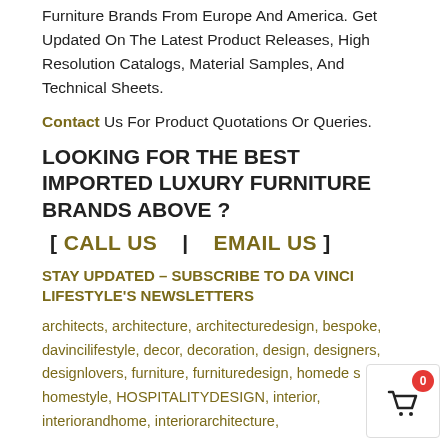Furniture Brands From Europe And America. Get Updated On The Latest Product Releases, High Resolution Catalogs, Material Samples, And Technical Sheets.
Contact Us For Product Quotations Or Queries.
LOOKING FOR THE BEST IMPORTED LUXURY FURNITURE BRANDS ABOVE ?
[ CALL US  |  EMAIL US ]
STAY UPDATED – SUBSCRIBE TO DA VINCI LIFESTYLE'S NEWSLETTERS
architects, architecture, architecturedesign, bespoke, davincilifestyle, decor, decoration, design, designers, designlovers, furniture, furnituredesign, homede…, homestyle, HOSPITALITYDESIGN, interior, interiorandhome, interiorarchitecture,